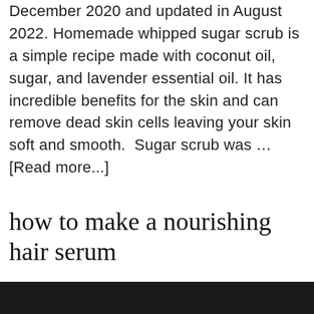December 2020 and updated in August 2022. Homemade whipped sugar scrub is a simple recipe made with coconut oil, sugar, and lavender essential oil. It has incredible benefits for the skin and can remove dead skin cells leaving your skin soft and smooth.  Sugar scrub was … [Read more...]
how to make a nourishing hair serum